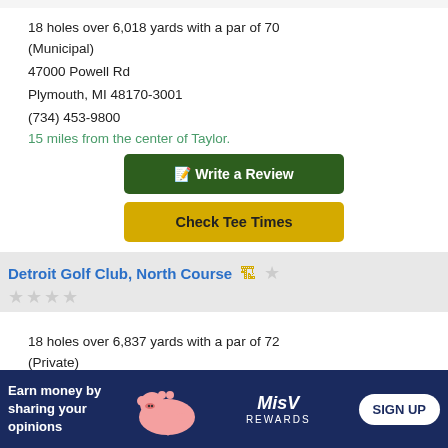18 holes over 6,018 yards with a par of 70 (Municipal)
47000 Powell Rd
Plymouth, MI 48170-3001
(734) 453-9800
15 miles from the center of Taylor.
Write a Review
Check Tee Times
Detroit Golf Club, North Course
18 holes over 6,837 yards with a par of 72 (Private)
17911 Hamilton Rd
Detroit, MI 48203-1797
(313) 345-1818
15 miles from the center of Taylor.
Earn money by sharing your opinions